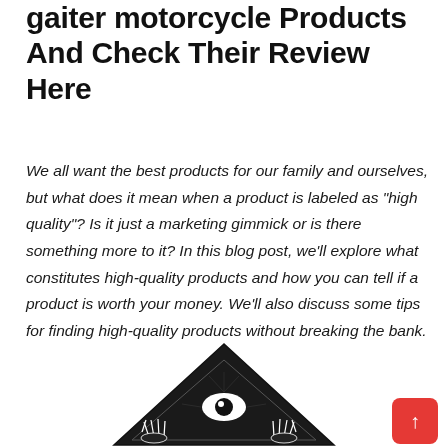gaiter motorcycle Products And Check Their Review Here
We all want the best products for our family and ourselves, but what does it mean when a product is labeled as "high quality"? Is it just a marketing gimmick or is there something more to it? In this blog post, we'll explore what constitutes high-quality products and how you can tell if a product is worth your money. We'll also discuss some tips for finding high-quality products without breaking the bank.
[Figure (illustration): Black and white illustration of a motorcycle neck gaiter/face mask featuring an all-seeing eye triangle design with skeletal hands, shown partially visible at the bottom of the page.]